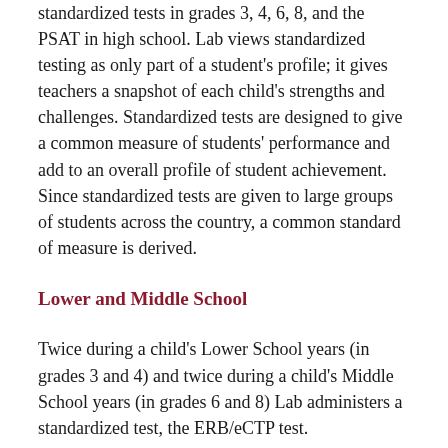standardized tests in grades 3, 4, 6, 8, and the PSAT in high school. Lab views standardized testing as only part of a student's profile; it gives teachers a snapshot of each child's strengths and challenges. Standardized tests are designed to give a common measure of students' performance and add to an overall profile of student achievement. Since standardized tests are given to large groups of students across the country, a common standard of measure is derived.
Lower and Middle School
Twice during a child's Lower School years (in grades 3 and 4) and twice during a child's Middle School years (in grades 6 and 8) Lab administers a standardized test, the ERB/eCTP test.
The Comprehensive Testing Program (CTP) is an achievement test, designed to measure what students have already learned in school. Lab administers the